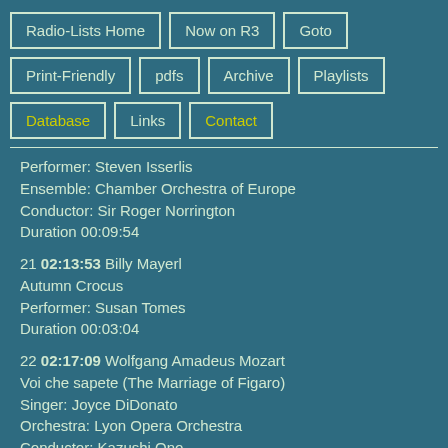Radio-Lists Home
Now on R3
Goto
Print-Friendly
pdfs
Archive
Playlists
Database
Links
Contact
Performer: Steven Isserlis
Ensemble: Chamber Orchestra of Europe
Conductor: Sir Roger Norrington
Duration 00:09:54
21 02:13:53 Billy Mayerl
Autumn Crocus
Performer: Susan Tomes
Duration 00:03:04
22 02:17:09 Wolfgang Amadeus Mozart
Voi che sapete (The Marriage of Figaro)
Singer: Joyce DiDonato
Orchestra: Lyon Opera Orchestra
Conductor: Kazushi Ono
Duration 00:02:52